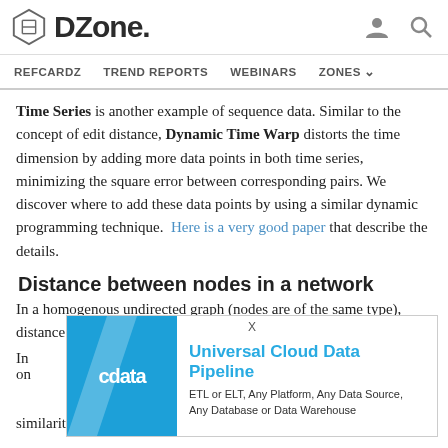DZone. [navigation: REFCARDZ, TREND REPORTS, WEBINARS, ZONES]
Time Series is another example of sequence data. Similar to the concept of edit distance, Dynamic Time Warp distorts the time dimension by adding more data points in both time series, minimizing the square error between corresponding pairs. We discover where to add these data points by using a similar dynamic programming technique. Here is a very good paper that describe the details.
Distance between nodes in a network
In a homogenous undirected graph (nodes are of the same type), distance between nodes can be measured by the shortest path.
[Figure (other): Advertisement banner for CData Universal Cloud Data Pipeline. ETL or ELT, Any Platform, Any Data Source, Any Database or Data Warehouse.]
similarity can be measured by analyzing how similar their connected